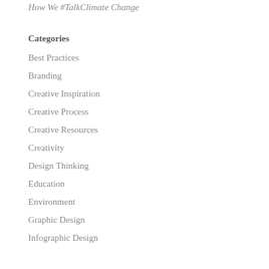How We #TalkClimate Change
Categories
Best Practices
Branding
Creative Inspiration
Creative Process
Creative Resources
Creativity
Design Thinking
Education
Environment
Graphic Design
Infographic Design